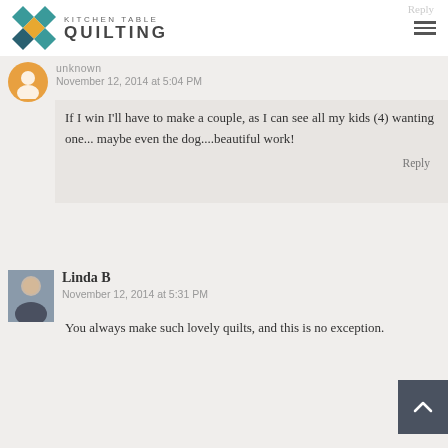Kitchen Table Quilting
Reply
unknown
November 12, 2014 at 5:04 PM
If I win I'll have to make a couple, as I can see all my kids (4) wanting one... maybe even the dog....beautiful work!
Reply
Linda B
November 12, 2014 at 5:31 PM
You always make such lovely quilts, and this is no exception.